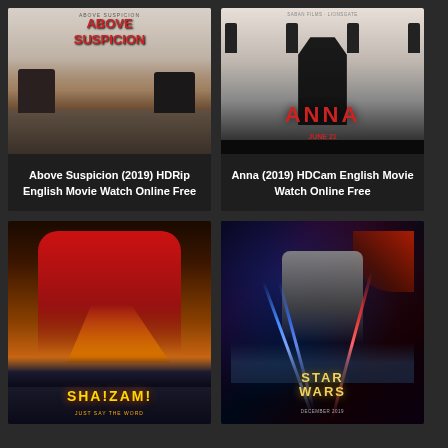[Figure (photo): Movie poster for Above Suspicion (2019) — winter scene with two figures and cars in snowy landscape, red text title]
Above Suspicion (2019) HDRip English Movie Watch Online Free
[Figure (photo): Movie poster for Anna (2019) — black and white poster with female silhouette holding gun, red ANNA title text, June 21 release date]
Anna (2019) HDCam English Movie Watch Online Free
[Figure (photo): Movie poster for Shazam! — superhero in red suit with lightning bolt logo, golden yellow text on dark background]
[Figure (photo): Movie poster for Star Wars — epic sci-fi poster with blue and red lightsaber beams, Star Wars golden title text, large cast of characters]